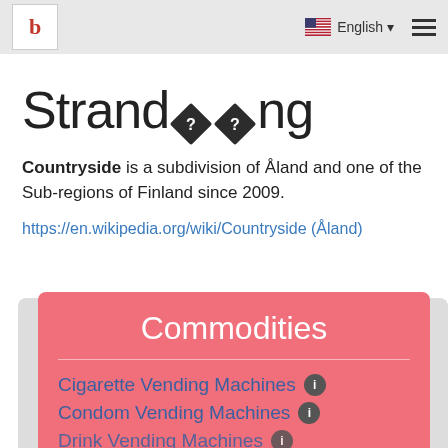b | English | menu
Strandöö ng
Countryside is a subdivision of Åland and one of the Sub-regions of Finland since 2009.
https://en.wikipedia.org/wiki/Countryside (Åland)
Commodities
Cigarette Vending Machines
Condom Vending Machines
Drink Vending Machines